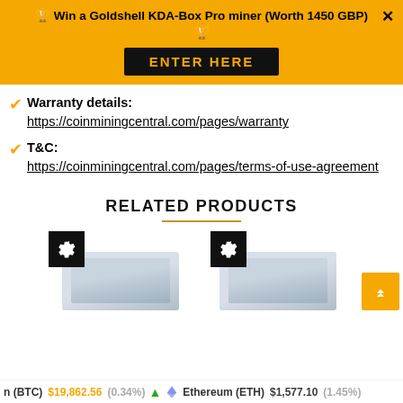🏆 Win a Goldshell KDA-Box Pro miner (Worth 1450 GBP) 🏆
ENTER HERE
Warranty details: https://coinminingcentral.com/pages/warranty
T&C: https://coinminingcentral.com/pages/terms-of-use-agreement
RELATED PRODUCTS
[Figure (photo): Two product images of mining hardware units with gear icons, shown side by side]
n (BTC) $19,862.56 (0.34%) ▲   Ethereum (ETH)  $1,577.10 (1.45%)